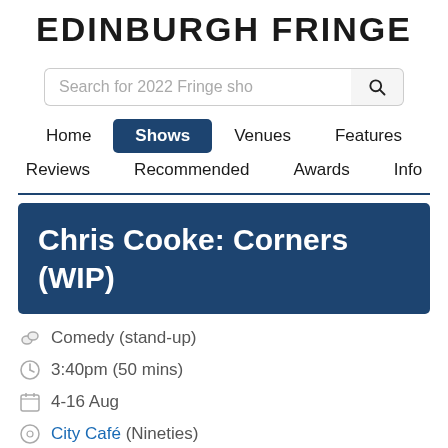EDINBURGH FRINGE
Search for 2022 Fringe shows
Home | Shows | Venues | Features | Reviews | Recommended | Awards | Info
Chris Cooke: Corners (WIP)
Comedy (stand-up)
3:40pm (50 mins)
4-16 Aug
City Café (Nineties)